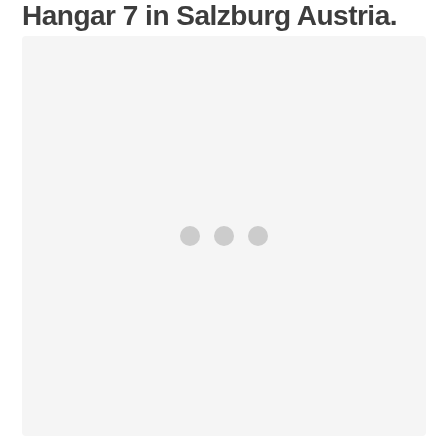Hangar 7 in Salzburg Austria.
[Figure (photo): Loading placeholder with three dots in a light gray box, representing an image of Hangar 7 in Salzburg Austria that is loading or unavailable.]